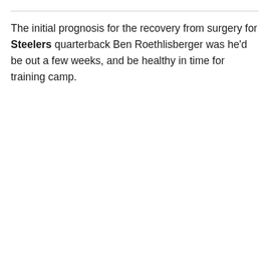The initial prognosis for the recovery from surgery for Steelers quarterback Ben Roethlisberger was he'd be out a few weeks, and be healthy in time for training camp.